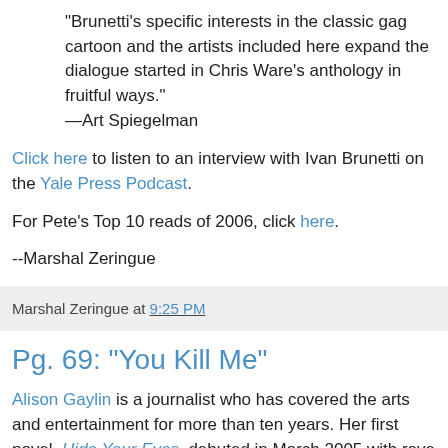"Brunetti's specific interests in the classic gag cartoon and the artists included here expand the dialogue started in Chris Ware's anthology in fruitful ways." —Art Spiegelman
Click here to listen to an interview with Ivan Brunetti on the Yale Press Podcast.
For Pete's Top 10 reads of 2006, click here.
--Marshal Zeringue
Marshal Zeringue at 9:25 PM
Pg. 69: "You Kill Me"
Alison Gaylin is a journalist who has covered the arts and entertainment for more than ten years. Her first novel, Hide Your Eyes, debuted in March 2005 with rave reviews, one of